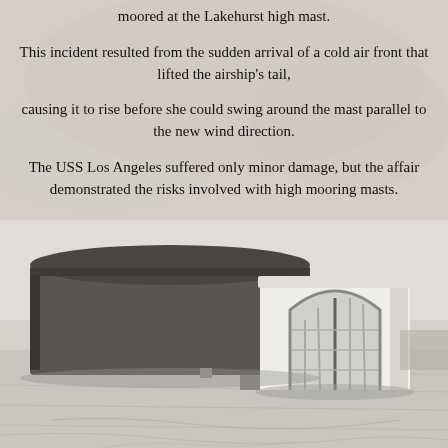moored at the Lakehurst high mast.
This incident resulted from the sudden arrival of a cold air front that lifted the airship's tail,
causing it to rise before she could swing around the mast parallel to the new wind direction.
The USS Los Angeles suffered only minor damage, but the affair demonstrated the risks involved with high mooring masts.
[Figure (photo): Black and white aerial photograph of a large airship hangar building with an arched entrance, showing the massive structure in an open landscape.]